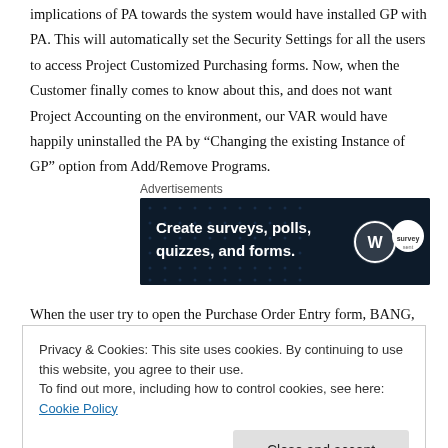implications of PA towards the system would have installed GP with PA. This will automatically set the Security Settings for all the users to access Project Customized Purchasing forms. Now, when the Customer finally comes to know about this, and does not want Project Accounting on the environment, our VAR would have happily uninstalled the PA by “Changing the existing Instance of GP” option from Add/Remove Programs.
Advertisements
[Figure (other): Advertisement banner: dark navy background with white bold text 'Create surveys, polls, quizzes, and forms.' with WordPress logo and a survey tool logo on the right.]
When the user try to open the Purchase Order Entry form, BANG, this message
Privacy & Cookies: This site uses cookies. By continuing to use this website, you agree to their use.
To find out more, including how to control cookies, see here: Cookie Policy

Close and accept